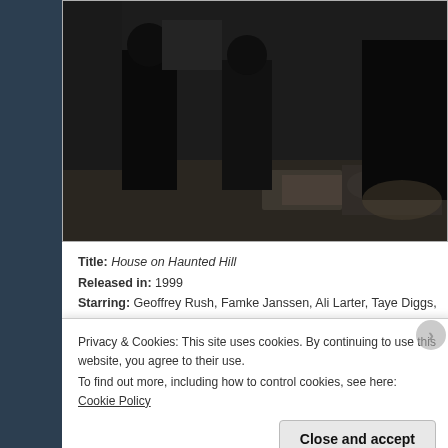[Figure (photo): Dark movie still from House on Haunted Hill showing shadowy figures standing indoors]
Title: House on Haunted Hill
Released in: 1999
Starring: Geoffrey Rush, Famke Janssen, Ali Larter, Taye Diggs, Peter C Wilson, Max Perlich, and Jeffrey Combs
Directed by: William Malone
Written by: Dick Beebe
Based On: N/A
Remake/reimagining/sequel?: Yes
Of what?: Remake of 1959's House on Haunted Hill, directed by William
Privacy & Cookies: This site uses cookies. By continuing to use this website, you agree to their use.
To find out more, including how to control cookies, see here: Cookie Policy
Close and accept